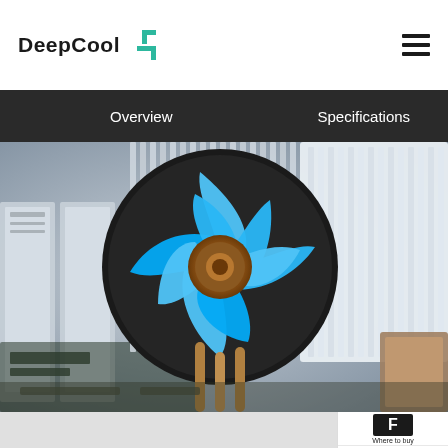DeepCool
Overview
Specifications
[Figure (photo): DeepCool CPU cooler with blue fan mounted on a white motherboard. Close-up product photo showing the fan blades in blue, heatsink fins, and copper heat pipes.]
[Figure (logo): Where to buy button with black square icon]
[Figure (logo): Support button with chat bubble icon]
[Figure (logo): DeepCool Former Website button with DeepCool logo]